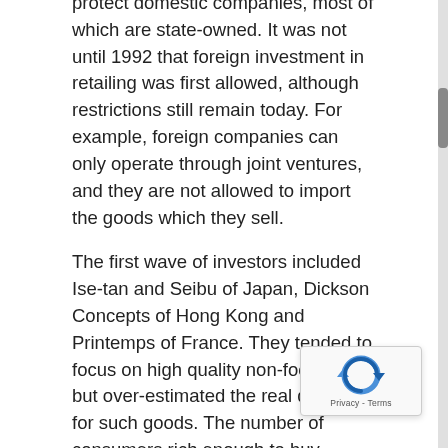protect domestic companies, most of which are state-owned. It was not until 1992 that foreign investment in retailing was first allowed, although restrictions still remain today. For example, foreign companies can only operate through joint ventures, and they are not allowed to import the goods which they sell.

The first wave of investors included Ise-tan and Seibu of Japan, Dickson Concepts of Hong Kong and Printemps of France. They tended to focus on high quality non-food items, but over-estimated the real demand for such goods. The number of consumers rich enough to buy designer labels is still very small and many of the shops became `shopping museums', attracting sightseers curious to gaze at the high-priced imported goods but unable to buy them. Few made any money and many were forced to trade down. Parkson, for example, is a subsidiary of the Lion Group and operates the largest retail chain in Malaysia. The company opened its first store in Beijing in March 1994 but low sales forced it to